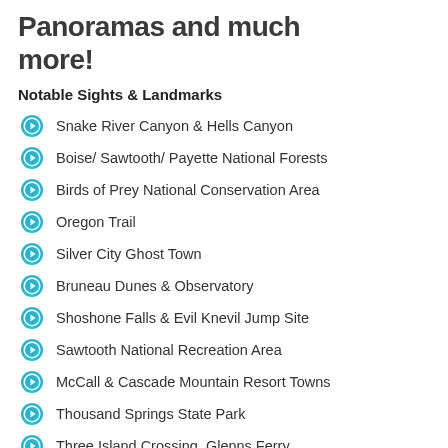Panoramas and much more!
Notable Sights & Landmarks
Snake River Canyon & Hells Canyon
Boise/ Sawtooth/ Payette National Forests
Birds of Prey National Conservation Area
Oregon Trail
Silver City Ghost Town
Bruneau Dunes & Observatory
Shoshone Falls & Evil Knevil Jump Site
Sawtooth National Recreation Area
McCall & Cascade Mountain Resort Towns
Thousand Springs State Park
Three Island Crossing, Glenns Ferry